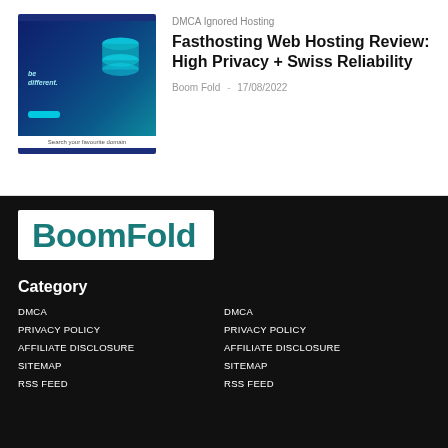[Figure (screenshot): Thumbnail image of Fasthosting web hosting website with blue gradient design and 3D server/database graphic]
DMCA Ignored Hosting
Fasthosting Web Hosting Review: High Privacy + Swiss Reliability
Boom Fold  -  17/08/2022
[Figure (logo): BoomFold logo — white background with large teal bold text]
Category
DMCA
PRIVACY POLICY
AFFILIATE DISCLOSURE
SITEMAP
RSS FEED
DMCA
PRIVACY POLICY
AFFILIATE DISCLOSURE
SITEMAP
RSS FEED